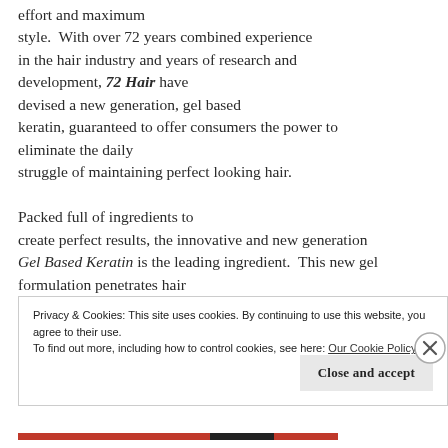effort and maximum style.  With over 72 years combined experience in the hair industry and years of research and development, 72 Hair have devised a new generation, gel based keratin, guaranteed to offer consumers the power to eliminate the daily struggle of maintaining perfect looking hair.

Packed full of ingredients to create perfect results, the innovative and new generation Gel Based Keratin is the leading ingredient.  This new gel formulation penetrates hair
Privacy & Cookies: This site uses cookies. By continuing to use this website, you agree to their use.
To find out more, including how to control cookies, see here: Our Cookie Policy
Close and accept